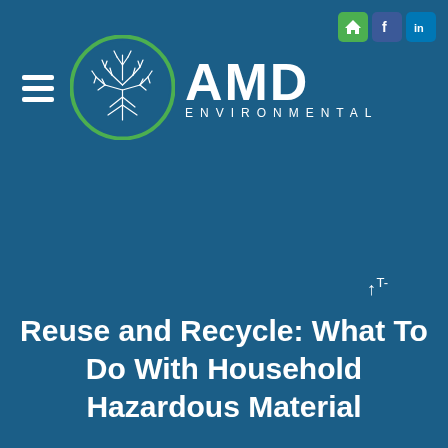[Figure (logo): AMD Environmental logo with tree in green circle and 'AMD ENVIRONMENTAL' text in white on dark blue background, with hamburger menu icon, and social media icons (home, Facebook, LinkedIn) in top right]
Reuse and Recycle: What To Do With Household Hazardous Material